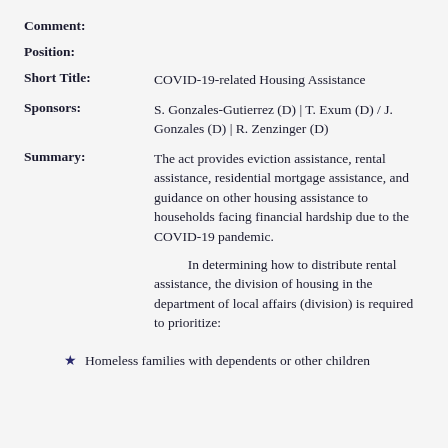Comment:
Position:
Short Title: COVID-19-related Housing Assistance
Sponsors: S. Gonzales-Gutierrez (D) | T. Exum (D) / J. Gonzales (D) | R. Zenzinger (D)
Summary: The act provides eviction assistance, rental assistance, residential mortgage assistance, and guidance on other housing assistance to households facing financial hardship due to the COVID-19 pandemic.
In determining how to distribute rental assistance, the division of housing in the department of local affairs (division) is required to prioritize:
Homeless families with dependents or other children